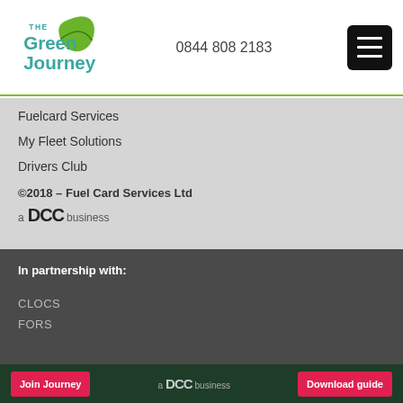[Figure (logo): The Green Journey logo with green leaf and teal text]
0844 808 2183
[Figure (other): Hamburger menu button (three white lines on black background)]
Fuelcard Services
My Fleet Solutions
Drivers Club
©2018 – Fuel Card Services Ltd
[Figure (logo): a DCC business logo]
In partnership with:
CLOCS
FORS
Join Journey   a DCC business   Download guide